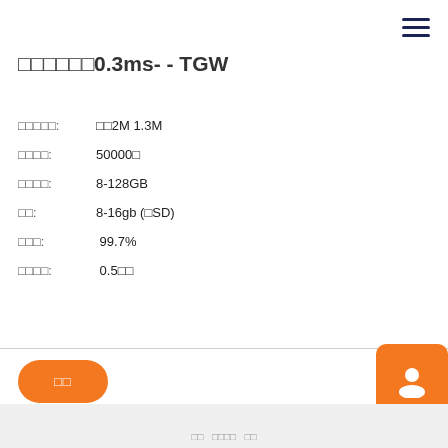□□□□□□0.3ms- - TGW
□□□□□:　□□2M 1.3M
□□□□:　50000□
□□□□:　8-128GB
□□:　8-16gb (□SD)
□□□:　99.7%
□□□□:　0.5□□
□□
□□　□□□□　□□